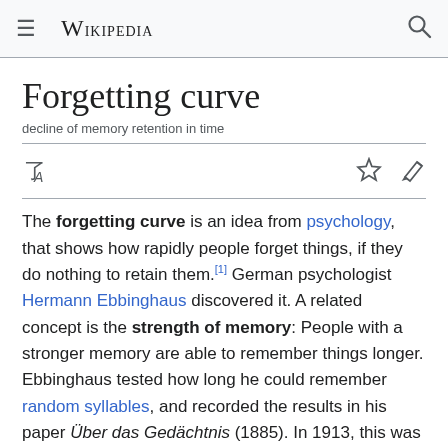Wikipedia
Forgetting curve
decline of memory retention in time
The forgetting curve is an idea from psychology, that shows how rapidly people forget things, if they do nothing to retain them.[1] German psychologist Hermann Ebbinghaus discovered it. A related concept is the strength of memory: People with a stronger memory are able to remember things longer. Ebbinghaus tested how long he could remember random syllables, and recorded the results in his paper Über das Gedächtnis (1885). In 1913, this was translated into English as Memory: A Contribution to Experimental Psychology".[2] Ebbinghaus